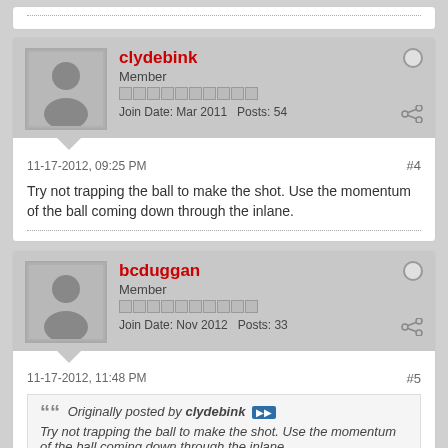clydebink - Member - Join Date: Mar 2011 - Posts: 54
11-17-2012, 09:25 PM #4
Try not trapping the ball to make the shot. Use the momentum of the ball coming down through the inlane.
bcduggan - Member - Join Date: Nov 2012 - Posts: 33
11-17-2012, 11:48 PM #5
Originally posted by clydebink Try not trapping the ball to make the shot. Use the momentum of the ball coming down through the inlane.